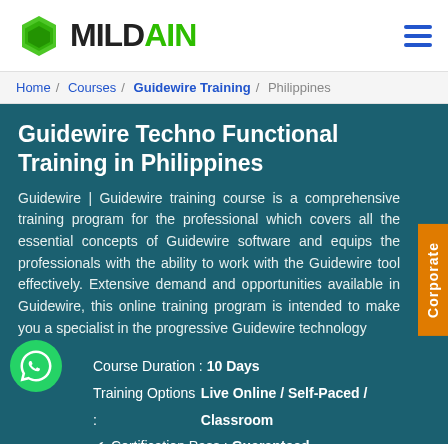[Figure (logo): Mildain logo with green hexagon icon and MILDAIN text]
Home / Courses / Guidewire Training / Philippines
Guidewire Techno Functional Training in Philippines
Guidewire | Guidewire training course is a comprehensive training program for the professional which covers all the essential concepts of Guidewire software and equips the professionals with the ability to work with the Guidewire tool effectively. Extensive demand and opportunities available in Guidewire, this online training program is intended to make you a specialist in the progressive Guidewire technology
Course Duration : 10 Days
Training Options : Live Online / Self-Paced / Classroom
✓  Certification Pass : Guaranteed